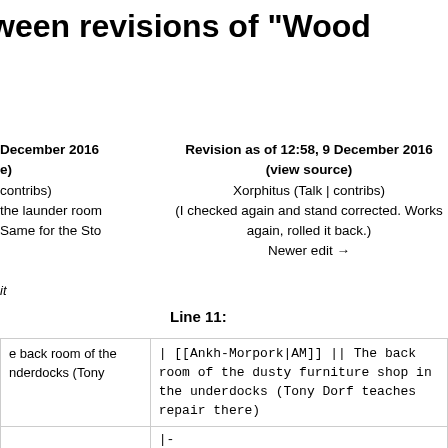ween revisions of "Wood
December 2016
e)
contribs)
the launder room
Same for the Sto
Revision as of 12:58, 9 December 2016 (view source)
Xorphitus (Talk | contribs)
(I checked again and stand corrected. Works again, rolled it back.)
Newer edit →
it
Line 11:
| e back room of the
nderdocks (Tony | | [[Ankh-Morpork|AM]] || The back room of the dusty furniture shop in the underdocks (Tony Dorf teaches repair there) |
|  | |- |